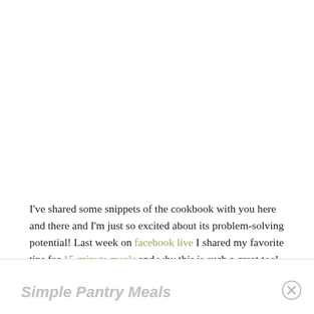I've shared some snippets of the cookbook with you here and there and I'm just so excited about its problem-solving potential! Last week on facebook live I shared my favorite tips for 15-minute meals and why this is such a great tool for thriving in the dinner hour.
Simple Pantry Meals